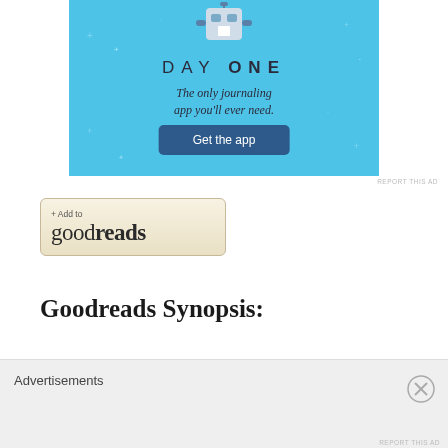[Figure (screenshot): Day One journaling app advertisement banner with light blue background, robot/person icon, 'DAY ONE' text, tagline 'The only journaling app you'll ever need.' and a dark blue 'Get the app' button]
REPORT THIS AD
[Figure (logo): Goodreads '+ Add to goodreads' button with tan/beige background and rounded border]
Goodreads Synopsis:
Beware of the woods and the dark
[Figure (screenshot): Bottom advertisement overlay with gray background showing 'Advertisements' text and a close (X) button]
REPORT THIS AD